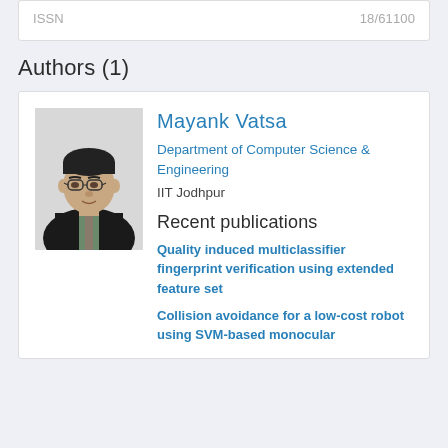| ISSN | 18/61100 |
| --- | --- |
Authors (1)
[Figure (photo): Headshot photo of Mayank Vatsa, a man with glasses wearing a dark suit jacket]
Mayank Vatsa
Department of Computer Science & Engineering
IIT Jodhpur
Recent publications
Quality induced multiclassifier fingerprint verification using extended feature set
Collision avoidance for a low-cost robot using SVM-based monocular